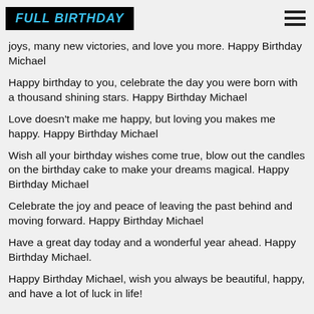FULL BIRTHDAY
joys, many new victories, and love you more. Happy Birthday Michael
Happy birthday to you, celebrate the day you were born with a thousand shining stars. Happy Birthday Michael
Love doesn't make me happy, but loving you makes me happy. Happy Birthday Michael
Wish all your birthday wishes come true, blow out the candles on the birthday cake to make your dreams magical. Happy Birthday Michael
Celebrate the joy and peace of leaving the past behind and moving forward. Happy Birthday Michael
Have a great day today and a wonderful year ahead. Happy Birthday Michael.
Happy Birthday Michael, wish you always be beautiful, happy, and have a lot of luck in life!